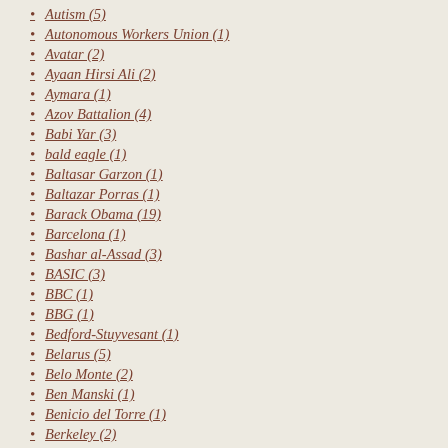Autism (5)
Autonomous Workers Union (1)
Avatar (2)
Ayaan Hirsi Ali (2)
Aymara (1)
Azov Battalion (4)
Babi Yar (3)
bald eagle (1)
Baltasar Garzon (1)
Baltazar Porras (1)
Barack Obama (19)
Barcelona (1)
Bashar al-Assad (3)
BASIC (3)
BBC (1)
BBG (1)
Bedford-Stuyvesant (1)
Belarus (5)
Belo Monte (2)
Ben Manski (1)
Benicio del Torre (1)
Berkeley (2)
Berlin (3)
Bernie Sanders (1)
Bertrand Russell (1)